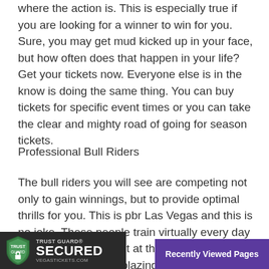where the action is. This is especially true if you are looking for a winner to win for you. Sure, you may get mud kicked up in your face, but how often does that happen in your life? Get your tickets now. Everyone else is in the know is doing the same thing. You can buy tickets for specific event times or you can take the clear and mighty road of going for season tickets.
Professional Bull Riders
The bull riders you will see are competing not only to gain winnings, but to provide optimal thrills for you. This is pbr Las Vegas and this is no joke. These people train virtually every day of their lives for a spot at this event. You get the show, the lights, the blazing action Las Vegas serves up for a weaving and beautiful party mentality. Perhaps if you get close enough at the right time, you can ask the riders why the reality is these are once in a lifetime ... for the riders as wel...
[Figure (logo): Trust Guard Secured badge with shield icon and vegastickets.com text]
Recently Viewed Pages